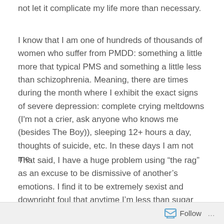not let it complicate my life more than necessary.
I know that I am one of hundreds of thousands of women who suffer from PMDD: something a little more that typical PMS and something a little less than schizophrenia. Meaning, there are times during the month where I exhibit the exact signs of severe depression: complete crying meltdowns (I'm not a crier, ask anyone who knows me (besides The Boy)), sleeping 12+ hours a day, thoughts of suicide, etc. In these days I am not me.
That said, I have a huge problem using “the rag” as an excuse to be dismissive of another’s emotions. I find it to be extremely sexist and downright foul that anytime I’m less than sugar and spice, I’m either a) a bitch, or b) on my
Follow